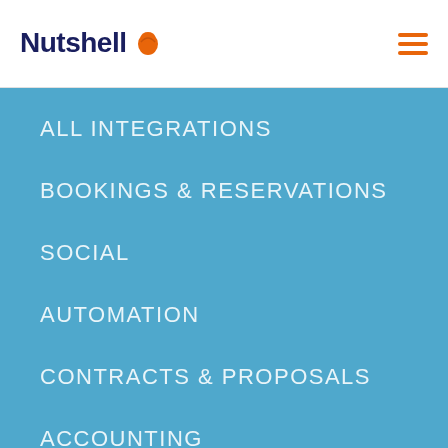Nutshell
ALL INTEGRATIONS
BOOKINGS & RESERVATIONS
SOCIAL
AUTOMATION
CONTRACTS & PROPOSALS
ACCOUNTING